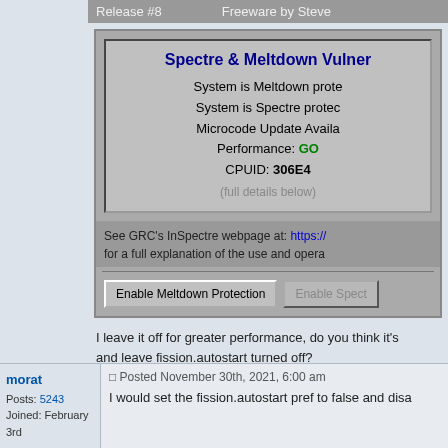Release #8    Freeware by Steve
[Figure (screenshot): InSpectre application screenshot showing Spectre & Meltdown Vulnerability checker. Shows: System is Meltdown prote... System is Spectre protec... Microcode Update Availa... Performance: GO... CPUID: 306E4... (full details below). Buttons: Enable Meltdown Protection, Enable Spect...]
See GRC's InSpectre webpage at: https:// for a full explanation of the use and opera...
I leave it off for greater performance, do you think it's and leave fission.autostart turned off?
I prefer fewer processes because it saves a lot of ram
morat
Posts: 5243
Joined: February 3rd
Posted November 30th, 2021, 6:00 am
I would set the fission.autostart pref to false and disa